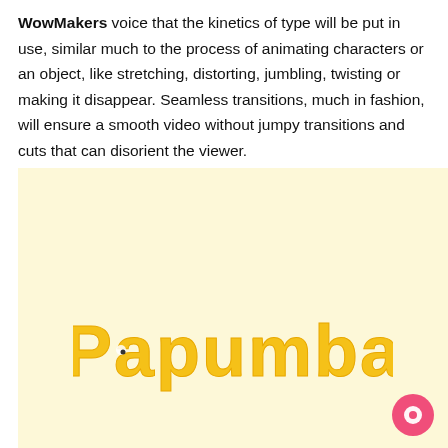WowMakers voice that the kinetics of type will be put in use, similar much to the process of animating characters or an object, like stretching, distorting, jumbling, twisting or making it disappear. Seamless transitions, much in fashion, will ensure a smooth video without jumpy transitions and cuts that can disorient the viewer.
[Figure (logo): Papumba logo in yellow bubbly text on a cream/pale yellow background]